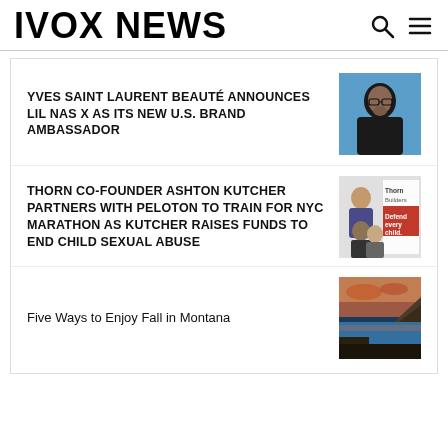IVOX NEWS
YVES SAINT LAURENT BEAUTÉ ANNOUNCES LIL NAS X AS ITS NEW U.S. BRAND AMBASSADOR
[Figure (photo): Photo of Lil Nas X]
THORN CO-FOUNDER ASHTON KUTCHER PARTNERS WITH PELOTON TO TRAIN FOR NYC MARATHON AS KUTCHER RAISES FUNDS TO END CHILD SEXUAL ABUSE
[Figure (photo): Thorn Builders - Defend every child promotional image with people]
Five Ways to Enjoy Fall in Montana
[Figure (photo): Scenic landscape of Montana in fall with lake and cliffs]